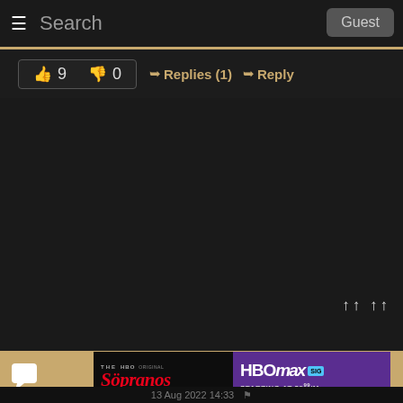Search  Guest
👍 9   👎 0   ➡ Replies (1)   ➡ Reply
[Figure (screenshot): Dark content area with no visible content]
↑↑ ↑↑
[Figure (screenshot): Advertisement banner: The Sopranos HBO Original / HBO Max SIGN UP STARTING AT $9.99/M]
13 Aug 2022 14:33